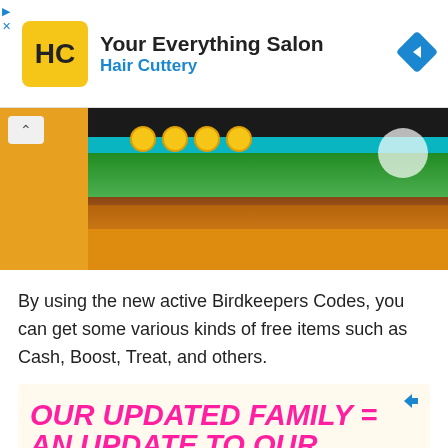[Figure (screenshot): Hair Cuttery advertisement banner with logo, title 'Your Everything Salon', subtitle 'Hair Cuttery', and navigation arrow icon]
[Figure (screenshot): Game screenshot showing a colorful cartoon scene with orange and green colors, partially visible]
By using the new active Birdkeepers Codes, you can get some various kinds of free items such as Cash, Boost, Treat, and others.
[Figure (screenshot): Health insurance advertisement with pink bold text reading 'OUR UPDATED FAMILY = AN UPDATE TO OUR HEALTH PLAN.' and a photo of a family below]